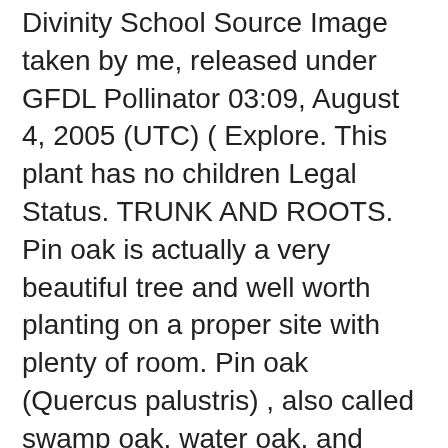Divinity School Source Image taken by me, released under GFDL Pollinator 03:09, August 4, 2005 (UTC) ( Explore. This plant has no children Legal Status. TRUNK AND ROOTS. Pin oak is actually a very beautiful tree and well worth planting on a proper site with plenty of room. Pin oak (Quercus palustris) , also called swamp oak, water oak, and swamp Spanish oak, is a fast-growing, moderately large tree found on bottom lands or moist uplands, often on poorly drained clay soils. Oak tree bark has deep grooves that give a bumpy texture to the bark. Consult the local county extension office or other reliable source for information on selecting, planting and caring for oak trees. Photo about Bark on truck of mature Pin Oak tree growing in Oregon Illinois 804420 Quercus palustris. SHAPE AND GROWTH . Clusters of pointed buds are located at the tips of twigs. They typically have a full, rounded shape and can be just as wide as they are tall. Rather flatter veins running down the tree which here hints for this theme. Source: a land